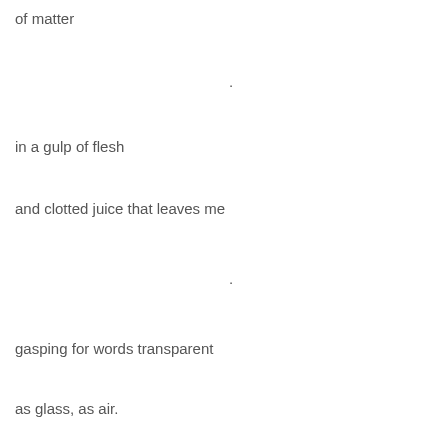of matter
.
in a gulp of flesh
and clotted juice that leaves me
.
gasping for words transparent
as glass, as air.